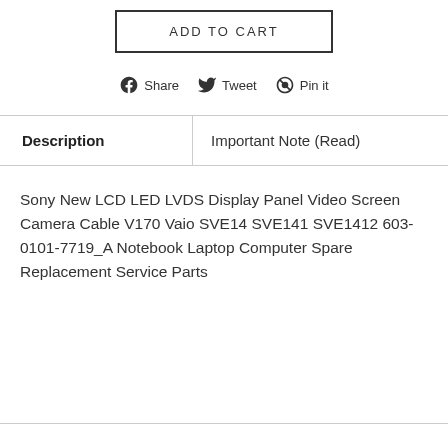ADD TO CART
Share  Tweet  Pin it
| Description | Important Note (Read) |
| --- | --- |
Sony New LCD LED LVDS Display Panel Video Screen Camera Cable V170 Vaio SVE14 SVE141 SVE1412 603-0101-7719_A Notebook Laptop Computer Spare Replacement Service Parts